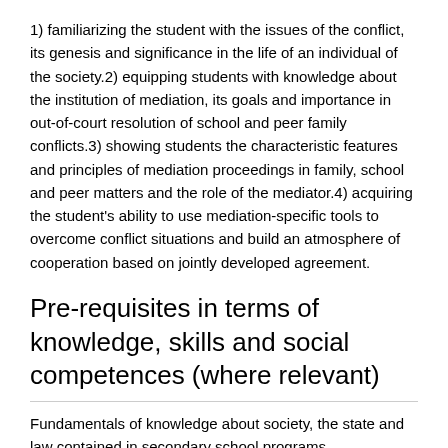1) familiarizing the student with the issues of the conflict, its genesis and significance in the life of an individual of the society.2) equipping students with knowledge about the institution of mediation, its goals and importance in out-of-court resolution of school and peer family conflicts.3) showing students the characteristic features and principles of mediation proceedings in family, school and peer matters and the role of the mediator.4) acquiring the student's ability to use mediation-specific tools to overcome conflict situations and build an atmosphere of cooperation based on jointly developed agreement.
Pre-requisites in terms of knowledge, skills and social competences (where relevant)
Fundamentals of knowledge about society, the state and law contained in secondary school programs.
Syllabus
1) The conflict as a contribution to mediation. The concept of conflict and the origin of the conflict, types of conflicts, styles of